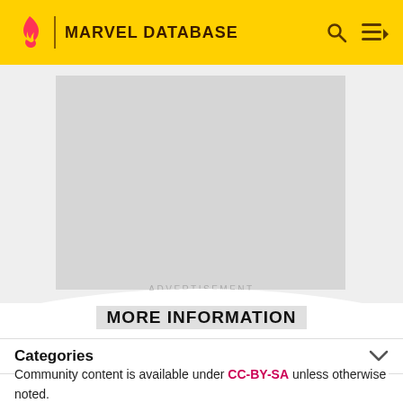MARVEL DATABASE
[Figure (screenshot): Advertisement placeholder — grey rectangle on light grey background with 'ADVERTISEMENT' label below]
ADVERTISEMENT
MORE INFORMATION
Categories
Community content is available under CC-BY-SA unless otherwise noted.